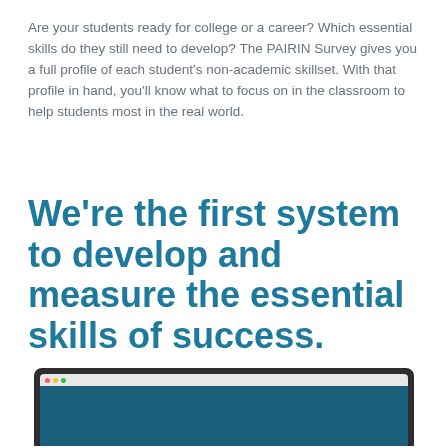Are your students ready for college or a career? Which essential skills do they still need to develop? The PAIRIN Survey gives you a full profile of each student's non-academic skillset. With that profile in hand, you'll know what to focus on in the classroom to help students most in the real world.
We're the first system to develop and measure the essential skills of success.
[Figure (photo): Bottom portion of a laptop computer showing a dark frame and a browser window with a teal/blue colored screen content. Browser bar shows colored dots (red, yellow, green).]